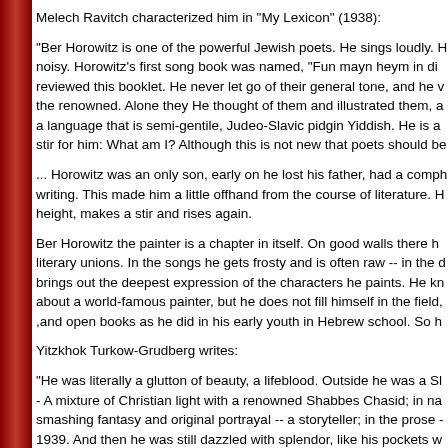Melech Ravitch characterized him in "My Lexicon" (1938):
"Ber Horowitz is one of the powerful Jewish poets. He sings loudly. He is noisy. Horowitz's first song book was named, "Fun mayn heym in di... reviewed this booklet. He never let go of their general tone, and he v... the renowned. Alone they He thought of them and illustrated them, a... a language that is semi-gentile, Judeo-Slavic pidgin Yiddish. He is a... stir for him: What am I? Although this is not new that poets should be...
... Horowitz was an only son, early on he lost his father, had a compl... writing. This made him a little offhand from the course of literature. H... height, makes a stir and rises again.
Ber Horowitz the painter is a chapter in itself. On good walls there h... literary unions. In the songs he gets frosty and is often raw -- in the d... brings out the deepest expression of the characters he paints. He kn... about a world-famous painter, but he does not fill himself in the field... ,and open books as he did in his early youth in Hebrew school. So h...
Yitzkhok Turkow-Grudberg writes:
"He was literally a glutton of beauty, a lifeblood. Outside he was a Sl... - A mixture of Christian light with a renowned Shabbes Chasid; in na... smashing fantasy and original portrayal -- a storyteller; in the prose -... 1939. And then he was still dazzled with splendor, like his pockets w... and writing -- a film scene creator, a cycle of plays. He hated small h...